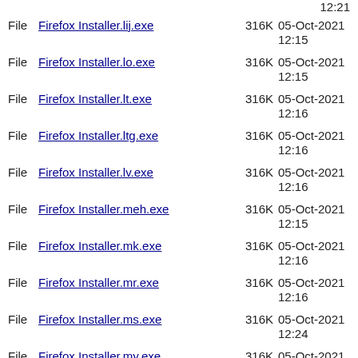File Firefox Installer.lij.exe 316K 05-Oct-2021 12:15
File Firefox Installer.lo.exe 316K 05-Oct-2021 12:15
File Firefox Installer.lt.exe 316K 05-Oct-2021 12:16
File Firefox Installer.ltg.exe 316K 05-Oct-2021 12:16
File Firefox Installer.lv.exe 316K 05-Oct-2021 12:16
File Firefox Installer.meh.exe 316K 05-Oct-2021 12:15
File Firefox Installer.mk.exe 316K 05-Oct-2021 12:16
File Firefox Installer.mr.exe 316K 05-Oct-2021 12:16
File Firefox Installer.ms.exe 316K 05-Oct-2021 12:24
File Firefox Installer.my.exe 316K 05-Oct-2021 12:16
File Firefox Installer.nb-NO.exe 316K 05-Oct-2021 12:21